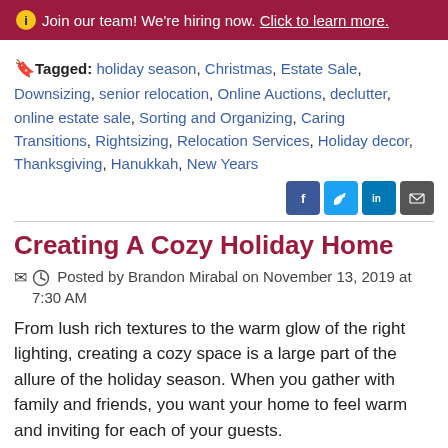ℹ Join our team! We're hiring now. Click to learn more.
Tagged: holiday season, Christmas, Estate Sale, Downsizing, senior relocation, Online Auctions, declutter, online estate sale, Sorting and Organizing, Caring Transitions, Rightsizing, Relocation Services, Holiday decor, Thanksgiving, Hanukkah, New Years
Creating A Cozy Holiday Home
Posted by Brandon Mirabal on November 13, 2019 at 7:30 AM
From lush rich textures to the warm glow of the right lighting, creating a cozy space is a large part of the allure of the holiday season. When you gather with family and friends, you want your home to feel warm and inviting for each of your guests.